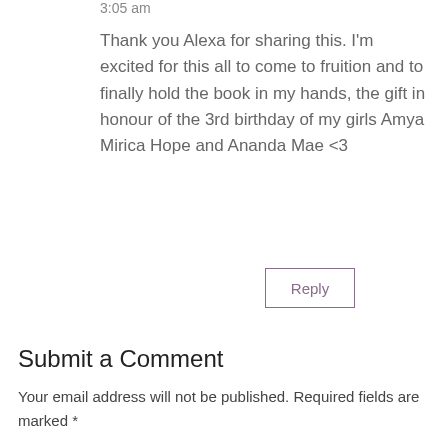3:05 am
Thank you Alexa for sharing this. I'm excited for this all to come to fruition and to finally hold the book in my hands, the gift in honour of the 3rd birthday of my girls Amya Mirica Hope and Ananda Mae <3
Reply
Submit a Comment
Your email address will not be published. Required fields are marked *